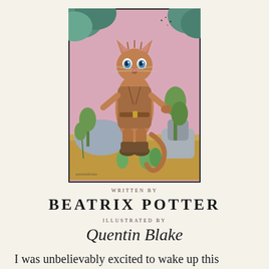[Figure (illustration): Watercolour illustration in a framed rectangle: an anthropomorphic cat standing upright wearing a brown jacket, with blue eyes and whiskers, surrounded by colourful foliage and a pink sky background. Sandy ground at the bottom. Quentin Blake style.]
WRITTEN BY
BEATRIX POTTER
ILLUSTRATED BY
Quentin Blake
I was unbelievably excited to wake up this